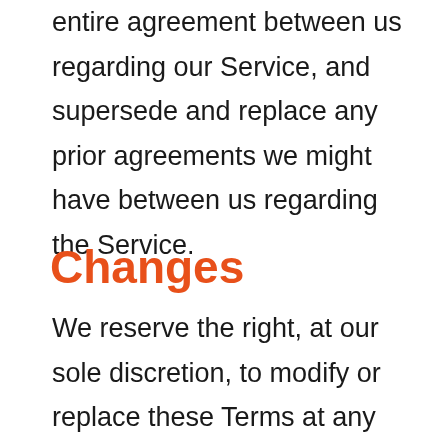entire agreement between us regarding our Service, and supersede and replace any prior agreements we might have between us regarding the Service.
Changes
We reserve the right, at our sole discretion, to modify or replace these Terms at any time. If a revision is material we will try to provide at least 30 days notice prior to any new terms